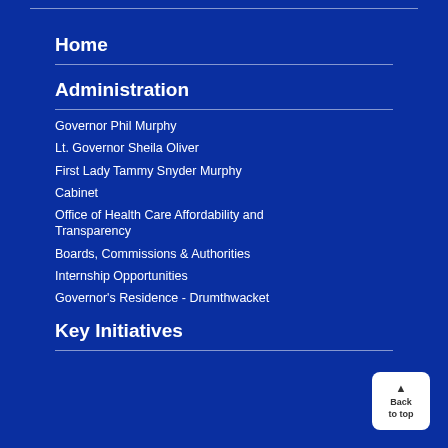Home
Administration
Governor Phil Murphy
Lt. Governor Sheila Oliver
First Lady Tammy Snyder Murphy
Cabinet
Office of Health Care Affordability and Transparency
Boards, Commissions & Authorities
Internship Opportunities
Governor's Residence - Drumthwacket
Key Initiatives